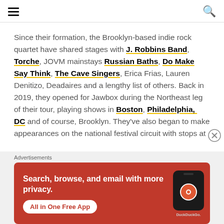Navigation header with hamburger menu and search icon
Since their formation, the Brooklyn-based indie rock quartet have shared stages with J. Robbins Band, Torche, JOVM mainstays Russian Baths, Do Make Say Think, The Cave Singers, Erica Frias, Lauren Denitizo, Deadaires and a lengthy list of others. Back in 2019, they opened for Jawbox during the Northeast leg of their tour, playing shows in Boston, Philadelphia, DC and of course, Brooklyn. They've also began to make appearances on the national festival circuit with stops at
[Figure (screenshot): DuckDuckGo advertisement banner with text 'Search, browse, and email with more privacy. All in One Free App' and phone mockup showing DuckDuckGo logo]